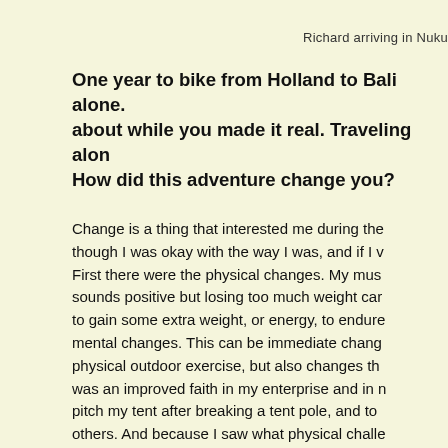Richard arriving in Nuku
One year to bike from Holland to Bali alone. about while you made it real. Traveling alon How did this adventure change you?
Change is a thing that interested me during the though I was okay with the way I was, and if I v First there were the physical changes. My mus sounds positive but losing too much weight car to gain some extra weight, or energy, to endure mental changes. This can be immediate chang physical outdoor exercise, but also changes th was an improved faith in my enterprise and in n pitch my tent after breaking a tent pole, and to others. And because I saw what physical challe completing my trip. An increased knowledge ab during my journey. Another thing is accepting sometimes. There's no need to curse, shout or healthy approach is to say: “Oh look, that has t like to say is about moods. Be prepared for the the mood is more intense than during most nig